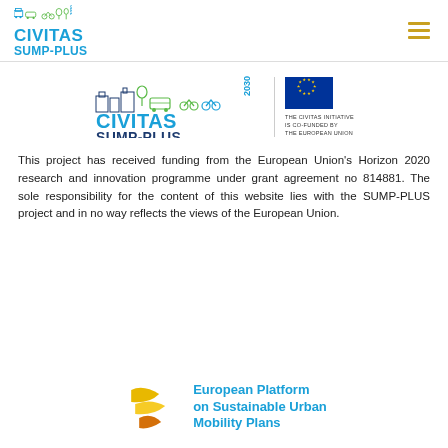CIVITAS SUMP-PLUS
[Figure (logo): CIVITAS SUMP-PLUS 2030 logo with EU co-funded badge and European flag]
This project has received funding from the European Union's Horizon 2020 research and innovation programme under grant agreement no 814881. The sole responsibility for the content of this website lies with the SUMP-PLUS project and in no way reflects the views of the European Union.
[Figure (logo): European Platform on Sustainable Urban Mobility Plans logo with yellow/orange leaf shapes]